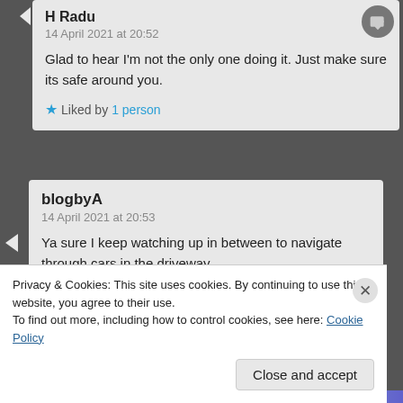H Radu
14 April 2021 at 20:52

Glad to hear I'm not the only one doing it. Just make sure its safe around you.

★ Liked by 1 person
blogbyA
14 April 2021 at 20:53

Ya sure I keep watching up in between to navigate through cars in the driveway
Privacy & Cookies: This site uses cookies. By continuing to use this website, you agree to their use.
To find out more, including how to control cookies, see here: Cookie Policy
Close and accept